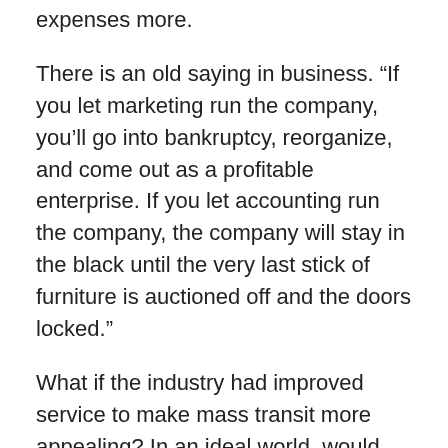expenses more.
There is an old saying in business. “If you let marketing run the company, you’ll go into bankruptcy, reorganize, and come out as a profitable enterprise. If you let accounting run the company, the company will stay in the black until the very last stick of furniture is auctioned off and the doors locked.”
What if the industry had improved service to make mass transit more appealing? In an ideal world, would you rather fight rush hour traffic, or would you prefer to sit in a comfortable train car? Unfortunately, in those cities that do have a more-or-less successful mass transit system, the comfort is still lacking. Instead, mass transit rush hour means being packed like sardines so that your nose is in another rider’s armpit (or vice versa). They could have